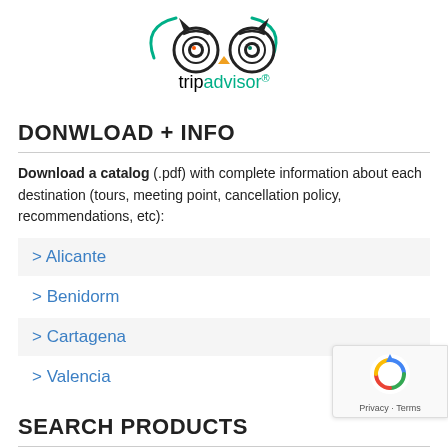[Figure (logo): TripAdvisor logo: owl face icon with green arc wings, text 'tripadvisor' with trip in black and advisor in teal/green, registered trademark symbol]
DONWLOAD + INFO
Download a catalog (.pdf) with complete information about each destination (tours, meeting point, cancellation policy, recommendations, etc):
> Alicante
> Benidorm
> Cartagena
> Valencia
SEARCH PRODUCTS
[Figure (logo): Google reCAPTCHA badge with reCAPTCHA icon and 'Privacy · Terms' text]